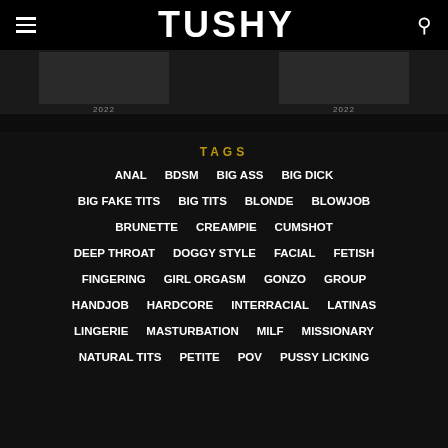TUSHY
[Figure (screenshot): Dark image strip with two year labels '2022' visible]
TAGS
ANAL
BDSM
BIG ASS
BIG DICK
BIG FAKE TITS
BIG TITS
BLONDE
BLOWJOB
BRUNETTE
CREAMPIE
CUMSHOT
DEEP THROAT
DOGGY STYLE
FACIAL
FETISH
FINGERING
GIRL ORGASM
GONZO
GROUP
HANDJOB
HARDCORE
INTERRACIAL
LATINAS
LINGERIE
MASTURBATION
MILF
MISSIONARY
NATURAL TITS
PETITE
POV
PUSSY LICKING